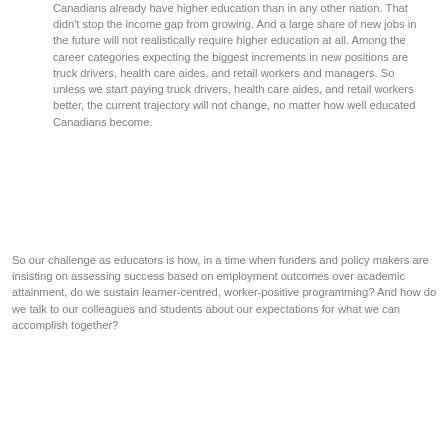Canadians already have higher education than in any other nation. That didn't stop the income gap from growing. And a large share of new jobs in the future will not realistically require higher education at all. Among the career categories expecting the biggest increments in new positions are truck drivers, health care aides, and retail workers and managers. So unless we start paying truck drivers, health care aides, and retail workers better, the current trajectory will not change, no matter how well educated Canadians become.
So our challenge as educators is how, in a time when funders and policy makers are insisting on assessing success based on employment outcomes over academic attainment, do we sustain learner-centred, worker-positive programming? And how do we talk to our colleagues and students about our expectations for what we can accomplish together?